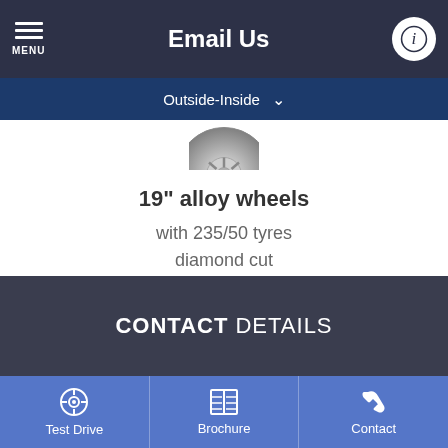Email Us
Outside-Inside
[Figure (photo): Partial view of a 19 inch diamond cut alloy wheel, cropped at top]
19" alloy wheels
with 235/50 tyres
diamond cut
CONTACT DETAILS
Test Drive   Brochure   Contact